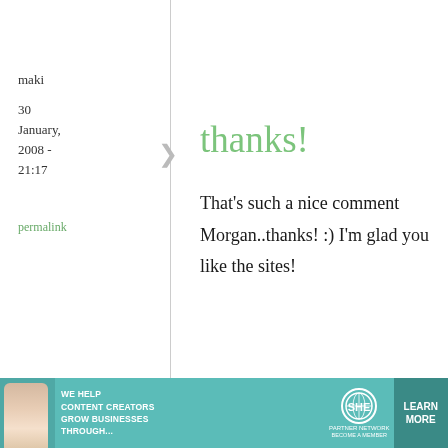maki
30 January, 2008 - 21:17
permalink
thanks!
That's such a nice comment Morgan..thanks! :) I'm glad you like the sites!
Carmen
31 January,
Hanbuger steak
[Figure (infographic): Advertisement banner for SHE Media Partner Network: 'We help content creators grow businesses through...' with Learn More button]